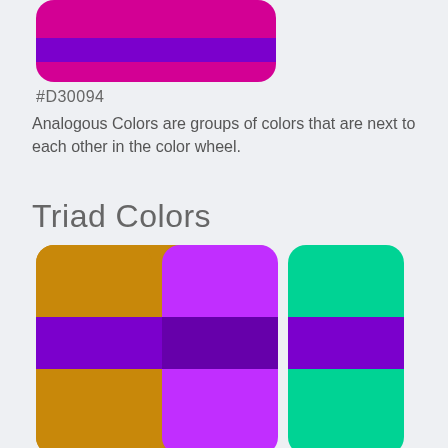[Figure (illustration): Color swatch for #D30094 - a deep magenta/pink rounded rectangle with a purple stripe in the middle, partially visible at top of page]
#D30094
Analogous Colors are groups of colors that are next to each other in the color wheel.
Triad Colors
[Figure (illustration): Color swatch for #D39400 - a golden/amber rounded rectangle with a purple stripe in the middle]
[Figure (illustration): Color swatch for #C12EFF - a bright purple rounded rectangle with a darker purple stripe in the middle]
[Figure (illustration): Color swatch for #00D394 - a bright teal/green rounded rectangle with a purple stripe in the middle]
#D39400
#C12EFF
#00D394
[Figure (illustration): Color swatch for #2EFFC0 - a bright mint/teal rounded rectangle with a purple stripe in the middle]
#2EFFC0
Triad Colors are the colors placed evenly around the color wheel. If you are combining tri...